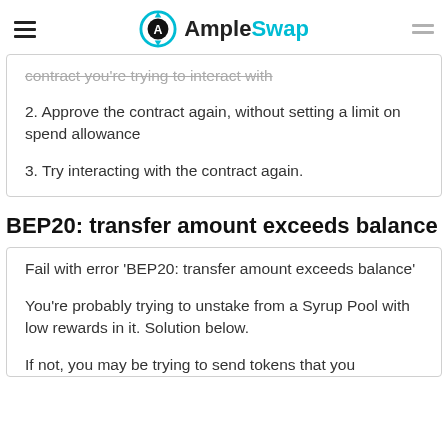AmpleSwap
contract you're trying to interact with
2. Approve the contract again, without setting a limit on spend allowance
3. Try interacting with the contract again.
BEP20: transfer amount exceeds balance
Fail with error 'BEP20: transfer amount exceeds balance'
You're probably trying to unstake from a Syrup Pool with low rewards in it. Solution below.
If not, you may be trying to send tokens that you